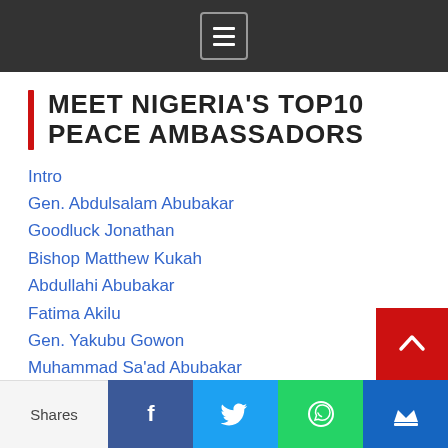Menu
MEET NIGERIA'S TOP10 PEACE AMBASSADORS
Intro
Gen. Abdulsalam Abubakar
Goodluck Jonathan
Bishop Matthew Kukah
Abdullahi Abubakar
Fatima Akilu
Gen. Yakubu Gowon
Muhammad Sa'ad Abubakar
Arch. John Onaiyekan
Zannah Mustapha
Aisha Wakil
Shares | Facebook | Twitter | WhatsApp | Crown